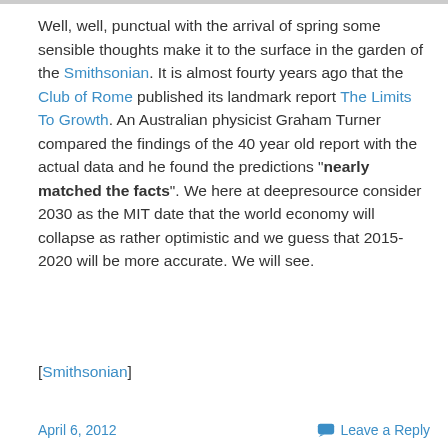Well, well, punctual with the arrival of spring some sensible thoughts make it to the surface in the garden of the Smithsonian. It is almost fourty years ago that the Club of Rome published its landmark report The Limits To Growth. An Australian physicist Graham Turner compared the findings of the 40 year old report with the actual data and he found the predictions "nearly matched the facts". We here at deepresource consider 2030 as the MIT date that the world economy will collapse as rather optimistic and we guess that 2015-2020 will be more accurate. We will see.
[Smithsonian]
April 6, 2012    Leave a Reply